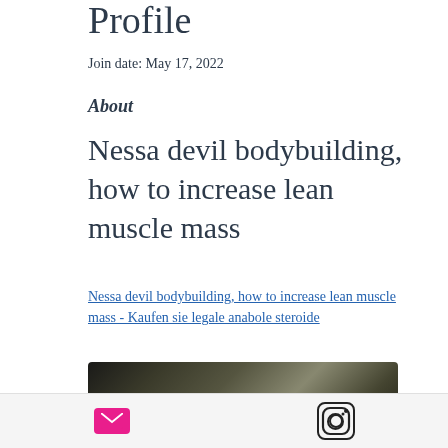Profile
Join date: May 17, 2022
About
Nessa devil bodybuilding, how to increase lean muscle mass
Nessa devil bodybuilding, how to increase lean muscle mass - Kaufen sie legale anabole steroide
[Figure (photo): Blurred dark image, likely a bodybuilding or fitness related photo]
Email icon | Instagram icon